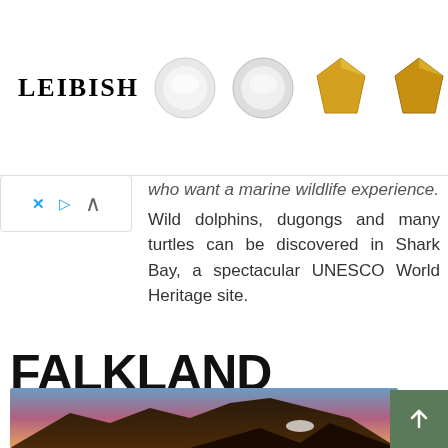[Figure (photo): LEIBISH jewelry advertisement banner showing diamond stud earrings, yellow heart-shaped diamond earrings, and a pink/red gemstone on white background]
who want a marine wildlife experience. Wild dolphins, dugongs and many turtles can be discovered in Shark Bay, a spectacular UNESCO World Heritage site.
FALKLAND ISLANDS
[Figure (photo): Landscape photo of Falkland Islands showing mountains silhouetted at dusk/dawn with pink and blue sky, and a bird visible in the foreground]